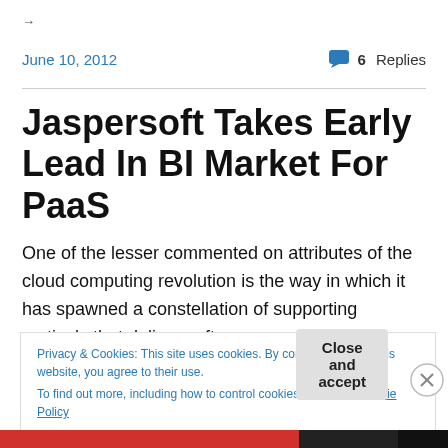→
June 10, 2012
6 Replies
Jaspersoft Takes Early Lead In BI Market For PaaS
One of the lesser commented on attributes of the cloud computing revolution is the way in which it has spawned a constellation of supporting verticals that deliver software
Privacy & Cookies: This site uses cookies. By continuing to use this website, you agree to their use.
To find out more, including how to control cookies, see here: Cookie Policy
Close and accept